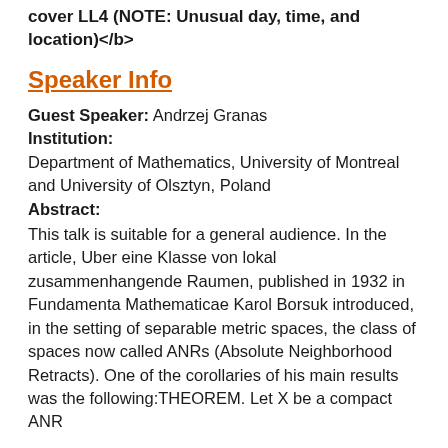cover LL4 b (NOTE: Unusual day, time, and location)</b>
Speaker Info
Guest Speaker: Andrzej Granas
Institution:
Department of Mathematics, University of Montreal and University of Olsztyn, Poland
Abstract:
This talk is suitable for a general audience. In the article, Uber eine Klasse von lokal zusammenhangende Raumen, published in 1932 in Fundamenta Mathematicae Karol Borsuk introduced, in the setting of separable metric spaces, the class of spaces now called ANRs (Absolute Neighborhood Retracts). One of the corollaries of his main results was the following:THEOREM. Let X be a compact ANR